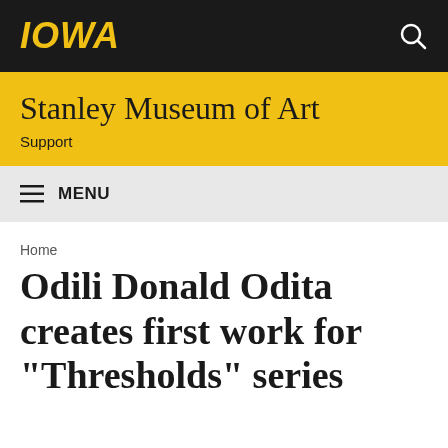IOWA
Stanley Museum of Art
Support
MENU
Home
Odili Donald Odita creates first work for "Thresholds" series